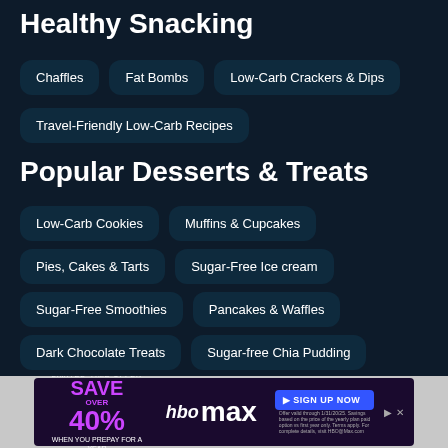Healthy Snacking
Chaffles
Fat Bombs
Low-Carb Crackers & Dips
Travel-Friendly Low-Carb Recipes
Popular Desserts & Treats
Low-Carb Cookies
Muffins & Cupcakes
Pies, Cakes & Tarts
Sugar-Free Ice cream
Sugar-Free Smoothies
Pancakes & Waffles
Dark Chocolate Treats
Sugar-free Chia Pudding
Keto Candies
Low-Carb Cocktails
[Figure (infographic): HBO Max advertisement banner: LIMITED-TIME OFFER SAVE OVER 40% WHEN YOU PREPAY FOR A YEAR. HBO max logo. SIGN UP NOW button.]